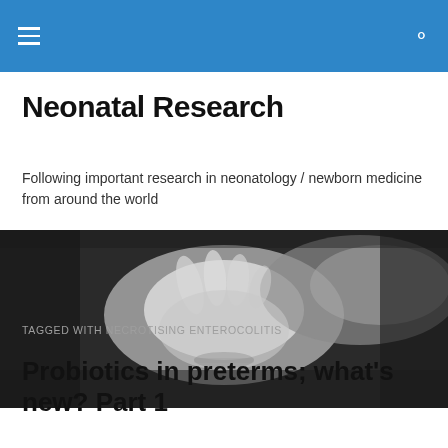Neonatal Research
Neonatal Research
Following important research in neonatology / newborn medicine from around the world
[Figure (photo): Black and white photograph of a newborn baby's hands being held by an adult hand]
TAGGED WITH NECROTISING ENTEROCOLITIS
Probiotics in preterms; what's new? Part 1